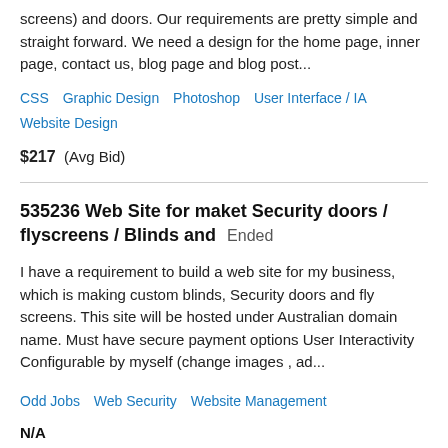screens) and doors. Our requirements are pretty simple and straight forward. We need a design for the home page, inner page, contact us, blog page and blog post...
CSS   Graphic Design   Photoshop   User Interface / IA   Website Design
$217  (Avg Bid)
535236 Web Site for maket Security doors / flyscreens / Blinds and  Ended
I have a requirement to build a web site for my business, which is making custom blinds, Security doors and fly screens. This site will be hosted under Australian domain name. Must have secure payment options User Interactivity Configurable by myself (change images , ad...
Odd Jobs   Web Security   Website Management
N/A